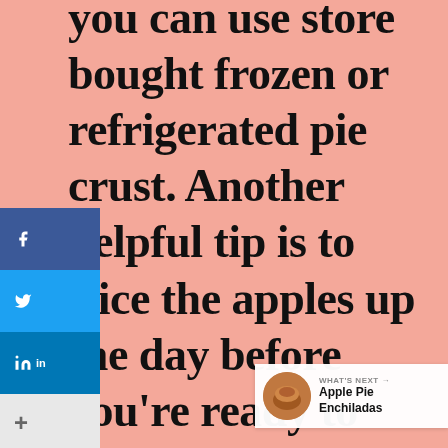you can use store bought frozen or refrigerated pie crust. Another helpful tip is to slice the apples up the day before you're ready to bake if you have the time. It's a
[Figure (screenshot): Social sharing sidebar with Facebook, Twitter, LinkedIn buttons and a plus button]
[Figure (screenshot): Floating heart (like) and share buttons on the right side, showing count of 1]
[Figure (screenshot): What's Next widget showing Apple Pie Enchiladas with a circular food photo thumbnail]